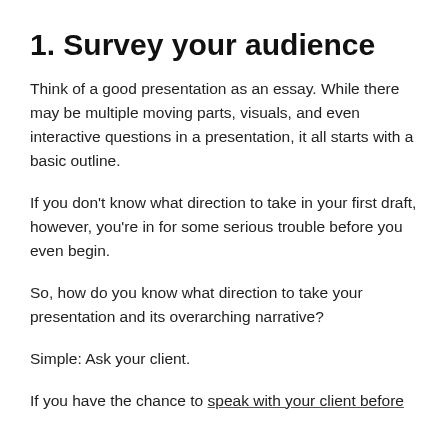1. Survey your audience
Think of a good presentation as an essay. While there may be multiple moving parts, visuals, and even interactive questions in a presentation, it all starts with a basic outline.
If you don’t know what direction to take in your first draft, however, you’re in for some serious trouble before you even begin.
So, how do you know what direction to take your presentation and its overarching narrative?
Simple: Ask your client.
If you have the chance to speak with your client before putting together the presentation, take advantage of this